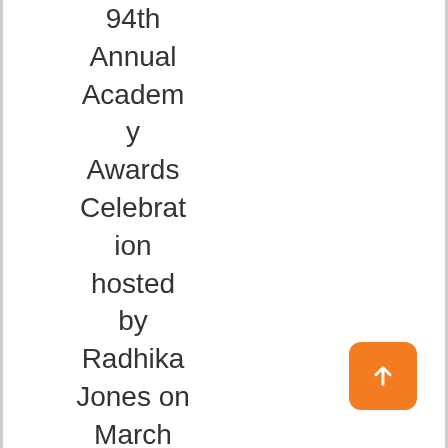94th Annual Academy Awards Celebration hosted by Radhika Jones on March 27, 2022 at the Wallis Annenb
[Figure (other): Orange rounded square button with a white upward arrow icon (scroll-to-top button)]